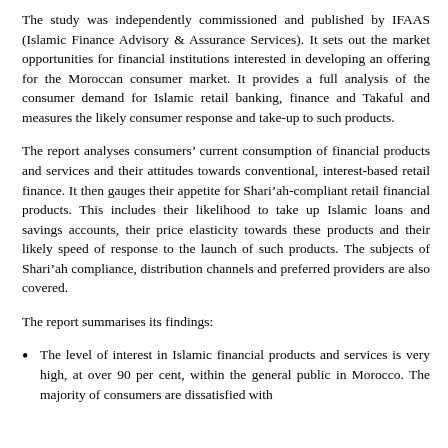The study was independently commissioned and published by IFAAS (Islamic Finance Advisory & Assurance Services). It sets out the market opportunities for financial institutions interested in developing an offering for the Moroccan consumer market. It provides a full analysis of the consumer demand for Islamic retail banking, finance and Takaful and measures the likely consumer response and take-up to such products.
The report analyses consumers' current consumption of financial products and services and their attitudes towards conventional, interest-based retail finance. It then gauges their appetite for Shari'ah-compliant retail financial products. This includes their likelihood to take up Islamic loans and savings accounts, their price elasticity towards these products and their likely speed of response to the launch of such products. The subjects of Shari'ah compliance, distribution channels and preferred providers are also covered.
The report summarises its findings:
The level of interest in Islamic financial products and services is very high, at over 90 per cent, within the general public in Morocco. The majority of consumers are dissatisfied with